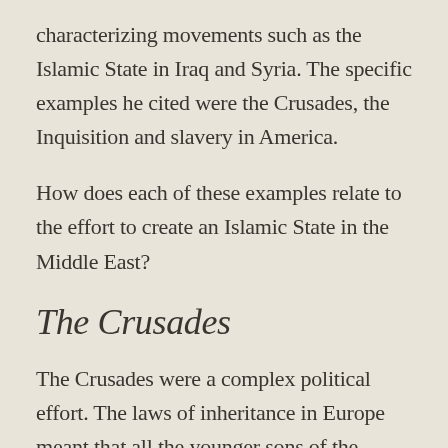characterizing movements such as the Islamic State in Iraq and Syria. The specific examples he cited were the Crusades, the Inquisition and slavery in America.
How does each of these examples relate to the effort to create an Islamic State in the Middle East?
The Crusades
The Crusades were a complex political effort. The laws of inheritance in Europe meant that all the younger sons of the nobility were unlanded, and thus unable to provide for a noble wife. As a result, Europe...